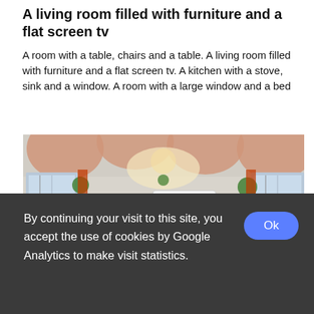A living room filled with furniture and a flat screen tv
A room with a table, chairs and a table. A living room filled with furniture and a flat screen tv. A kitchen with a stove, sink and a window. A room with a large window and a bed
[Figure (photo): Panoramic interior photo of a large modern living space with orange arched ceiling supports, decorative chandeliers, large arched windows, green plants, teal sofa, orange staircase, and a white kiosk structure in the center.]
By continuing your visit to this site, you accept the use of cookies by Google Analytics to make visit statistics.